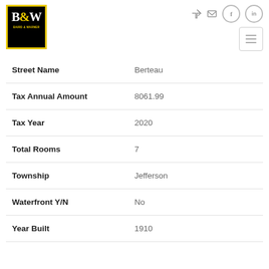[Figure (logo): Baird & Warner real estate logo - black box with B&W text in white and yellow ampersand, yellow border]
| Field | Value |
| --- | --- |
| Street Name | Berteau |
| Tax Annual Amount | 8061.99 |
| Tax Year | 2020 |
| Total Rooms | 7 |
| Township | Jefferson |
| Waterfront Y/N | No |
| Year Built | 1910 |